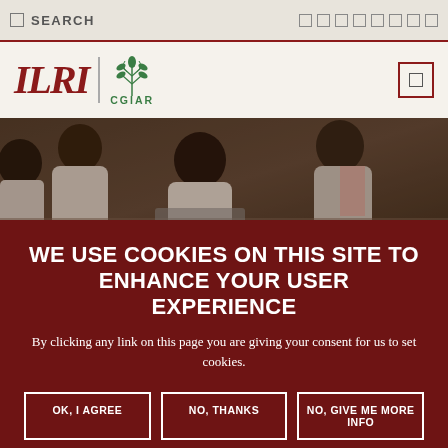SEARCH
[Figure (logo): ILRI CGIAR logo with wheat/plant emblem in green]
[Figure (photo): Group of people in white lab coats in a meeting or training session]
WE USE COOKIES ON THIS SITE TO ENHANCE YOUR USER EXPERIENCE
By clicking any link on this page you are giving your consent for us to set cookies.
OK, I AGREE | NO, THANKS | NO, GIVE ME MORE INFO